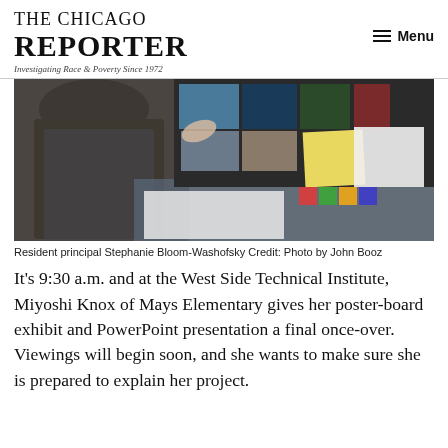THE CHICAGO REPORTER — Investigating Race & Poverty Since 1972
[Figure (photo): A person in a dark tweed jacket gestures toward a posterboard exhibit display with photos, documents, and colorful items on a table at West Side Technical Institute.]
Resident principal Stephanie Bloom-Washofsky Credit: Photo by John Booz
It's 9:30 a.m. and at the West Side Technical Institute, Miyoshi Knox of Mays Elementary gives her poster-board exhibit and PowerPoint presentation a final once-over. Viewings will begin soon, and she wants to make sure she is prepared to explain her project.